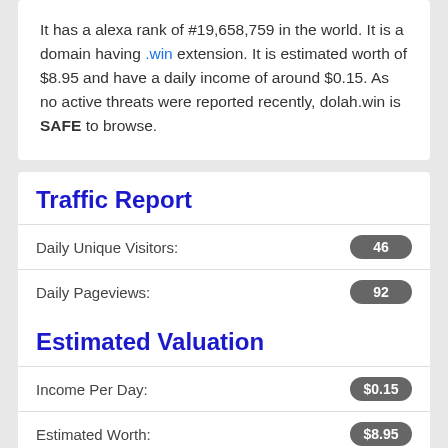It has a alexa rank of #19,658,759 in the world. It is a domain having .win extension. It is estimated worth of $8.95 and have a daily income of around $0.15. As no active threats were reported recently, dolah.win is SAFE to browse.
Traffic Report
|  |  |
| --- | --- |
| Daily Unique Visitors: | 46 |
| Daily Pageviews: | 92 |
Estimated Valuation
|  |  |
| --- | --- |
| Income Per Day: | $0.15 |
| Estimated Worth: | $8.95 |